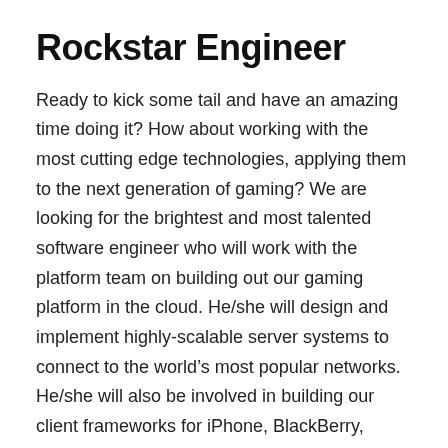Rockstar Engineer
Ready to kick some tail and have an amazing time doing it? How about working with the most cutting edge technologies, applying them to the next generation of gaming? We are looking for the brightest and most talented software engineer who will work with the platform team on building out our gaming platform in the cloud. He/she will design and implement highly-scalable server systems to connect to the world’s most popular networks.  He/she will also be involved in building our client frameworks for iPhone, BlackBerry, Facebook, and Android.  Sound like fun?